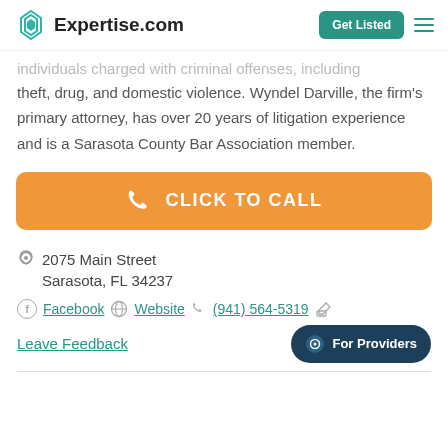Expertise.com | Get Listed
individuals charged with criminal offenses, including theft, drug, and domestic violence. Wyndel Darville, the firm's primary attorney, has over 20 years of litigation experience and is a Sarasota County Bar Association member.
[Figure (other): Orange CLICK TO CALL button with phone icon]
2075 Main Street
Sarasota, FL 34237
Facebook  Website  (941) 564-5319  Leave Feedback